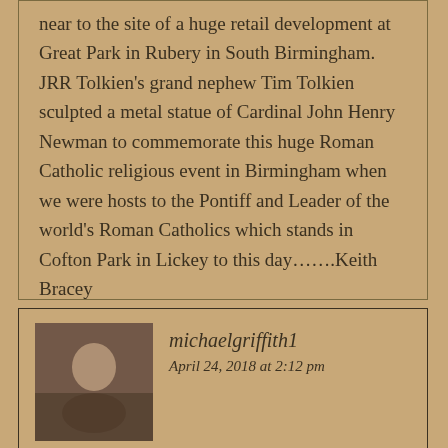near to the site of a huge retail development at Great Park in Rubery in South Birmingham. JRR Tolkien's grand nephew Tim Tolkien sculpted a metal statue of Cardinal John Henry Newman to commemorate this huge Roman Catholic religious event in Birmingham when we were hosts to the Pontiff and Leader of the world's Roman Catholics which stands in Cofton Park in Lickey to this day…….Keith Bracey
Log in to Reply
michaelgriffith1
April 24, 2018 at 2:12 pm